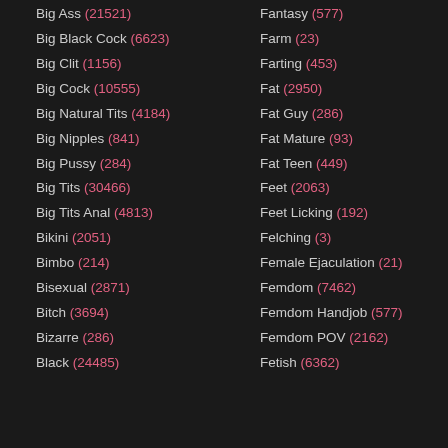Big Ass (21521)
Big Black Cock (6623)
Big Clit (1156)
Big Cock (10555)
Big Natural Tits (4184)
Big Nipples (841)
Big Pussy (284)
Big Tits (30466)
Big Tits Anal (4813)
Bikini (2051)
Bimbo (214)
Bisexual (2871)
Bitch (3694)
Bizarre (286)
Black (24485)
Fantasy (577)
Farm (23)
Farting (453)
Fat (2950)
Fat Guy (286)
Fat Mature (93)
Fat Teen (449)
Feet (2063)
Feet Licking (192)
Felching (3)
Female Ejaculation (21)
Femdom (7462)
Femdom Handjob (577)
Femdom POV (2162)
Fetish (6362)